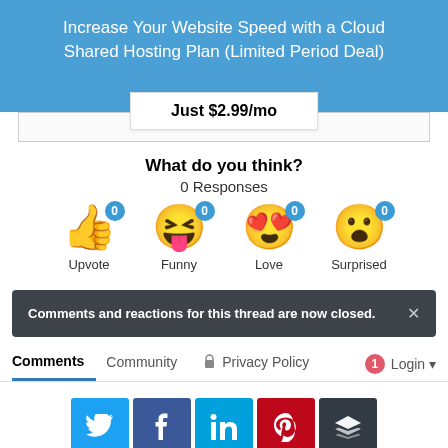Increase Your Website Speed with a Cloud Shared Hosting Plan (Limited Period Deal)
Just $2.99/mo
What do you think?
0 Responses
[Figure (infographic): Four emoji reaction buttons each with a '0' badge: Upvote (thumbs up), Funny (laughing face with tongue), Love (heart eyes face), Surprised (surprised face)]
Comments and reactions for this thread are now closed.
Comments  Community  Privacy Policy  Login
[Figure (infographic): Social sharing buttons: Twitter (blue), Facebook (dark blue), LinkedIn (light blue), Pinterest (red), Buffer (dark gray)]